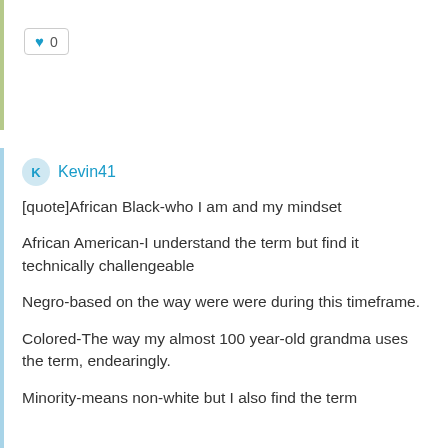♥ 0
Kevin41
[quote]African Black-who I am and my mindset

African American-I understand the term but find it technically challengeable

Negro-based on the way were were during this timeframe.

Colored-The way my almost 100 year-old grandma uses the term, endearingly.

Minority-means non-white but I also find the term